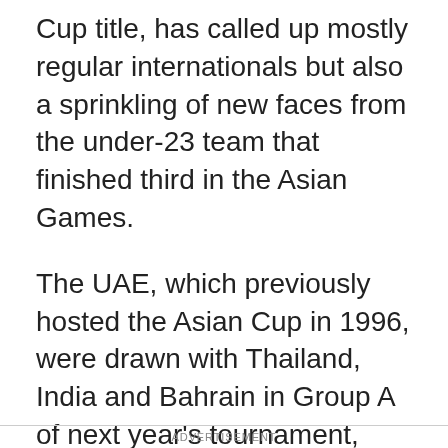Cup title, has called up mostly regular internationals but also a sprinkling of new faces from the under-23 team that finished third in the Asian Games.
The UAE, which previously hosted the Asian Cup in 1996, were drawn with Thailand, India and Bahrain in Group A of next year's tournament, which will be the first to feature 24 teams.
The hosts will be looking to win the Asian Cup for the first time in February after finishing as runners-up to Saudi Arabia on home soil 22 years ago and third in Australia four years ago.
ADVERTISEMENT